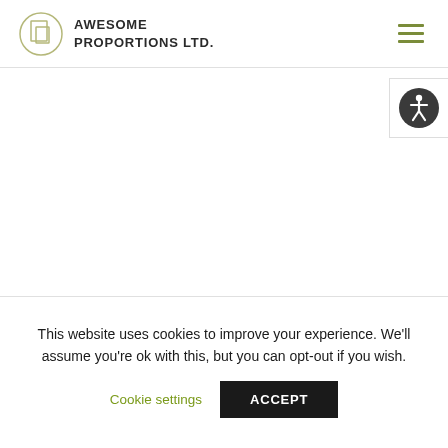AWESOME PROPORTIONS Ltd.
[Figure (logo): Awesome Proportions Ltd. logo with a circle containing geometric rectangle shapes and company name text]
[Figure (other): Hamburger menu icon (three horizontal green lines)]
[Figure (other): Accessibility icon button — circular button with figure/person symbol]
This website uses cookies to improve your experience. We'll assume you're ok with this, but you can opt-out if you wish.
Cookie settings
ACCEPT